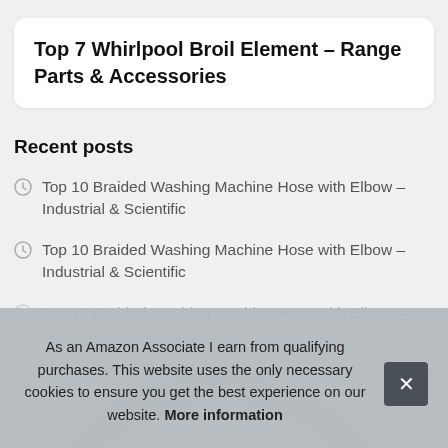Top 7 Whirlpool Broil Element – Range Parts & Accessories
Recent posts
Top 10 Braided Washing Machine Hose with Elbow – Industrial & Scientific
Top 10 Braided Washing Machine Hose with Elbow – Industrial & Scientific
Top 10 Braided Washing Machine Hose with Elbow – Industrial & Scientific
T
T
Top 10 Earth Water Bottles Milk Earth...
As an Amazon Associate I earn from qualifying purchases. This website uses the only necessary cookies to ensure you get the best experience on our website. More information